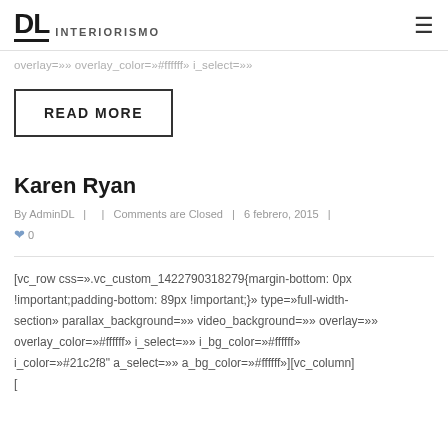DL INTERIORISMO
overlay=»» overlay_color=»#ffffff» i_select=»»
READ MORE
Karen Ryan
By AdminDL  |    |  Comments are Closed  |  6 febrero, 2015  |  ♥ 0
[vc_row css=».vc_custom_1422790318279{margin-bottom: 0px !important;padding-bottom: 89px !important;}» type=»full-width-section» parallax_background=»» video_background=»» overlay=»» overlay_color=»#ffffff» i_select=»» i_bg_color=»#ffffff» i_color=»#21c2f8" a_select=»» a_bg_color=»#ffffff»][vc_column] [